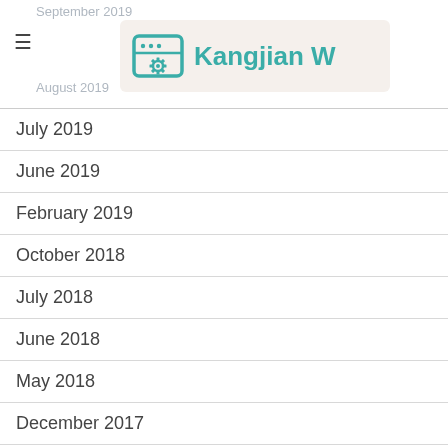September 2019
[Figure (logo): Kangjian W logo with teal gear/window icon and text 'Kangjian W' on beige background]
August 2019
July 2019
June 2019
February 2019
October 2018
July 2018
June 2018
May 2018
December 2017
January 2017
November 2016